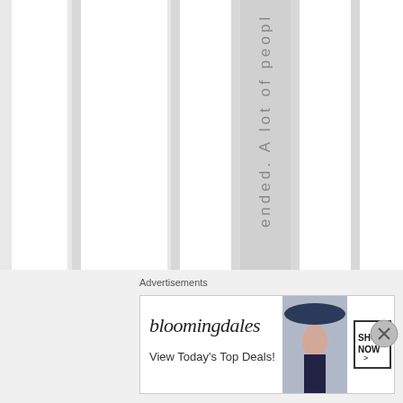ended. A lot of peopl
Advertisements
[Figure (other): Bloomingdales advertisement banner: 'View Today's Top Deals!' with woman in hat and 'SHOP NOW >' button]